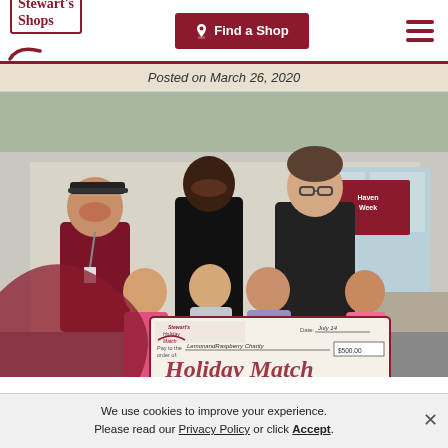Stewart's Shops — Find a Shop
Posted on March 26, 2020
[Figure (photo): Group photo of Stewart's Shops staff and children holding a large Stewart's Holiday Match check outside a Stewart's Shops location. Two adults in Stewart's uniforms, one woman in black shirt, and four young girls posing with the check. Holiday Match branding visible at bottom of image.]
We use cookies to improve your experience. Please read our Privacy Policy or click Accept.